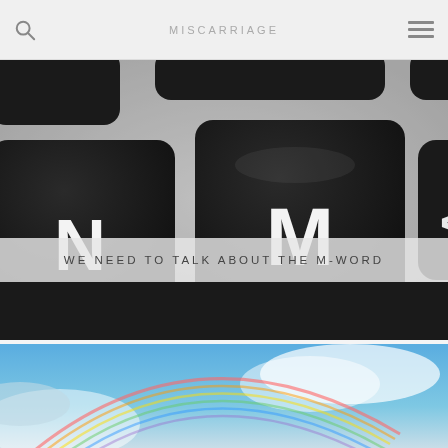MISCARRIAGE
[Figure (photo): Close-up black and white photo of keyboard keys, prominently showing the M key in the center, N key on the left, and a less than symbol key on the right]
WE NEED TO TALK ABOUT THE M-WORD
[Figure (photo): Photo of a blue sky with white clouds and a rainbow arc visible across the image]